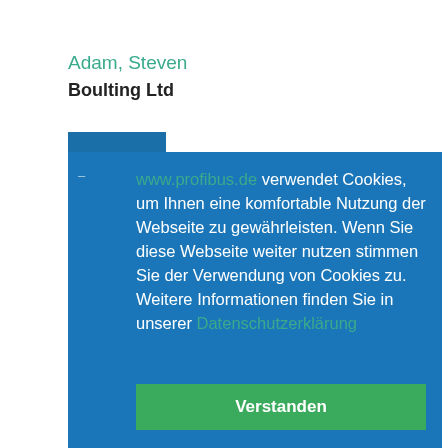Adam, Steven
Boulting Ltd
[Figure (screenshot): Cookie consent overlay dialog on profibus.de website. The dialog has a blue background and contains the text: 'www.profibus.de verwendet Cookies, um Ihnen eine komfortable Nutzung der Webseite zu gewährleisten. Wenn Sie diese Webseite weiter nutzen stimmen Sie der Verwendung von Cookies zu. Weitere Informationen finden Sie in unserer Datenschutzerklärung' with a green 'Verstanden' button below.]